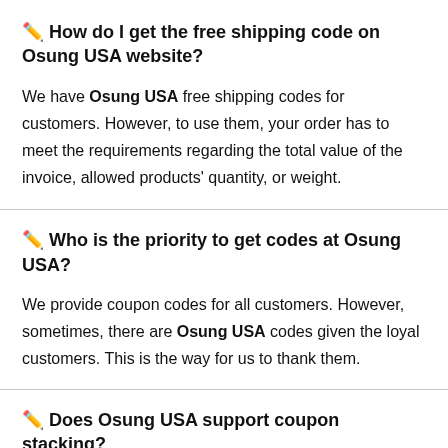✏️ How do I get the free shipping code on Osung USA website?
We have Osung USA free shipping codes for customers. However, to use them, your order has to meet the requirements regarding the total value of the invoice, allowed products' quantity, or weight.
✏️ Who is the priority to get codes at Osung USA?
We provide coupon codes for all customers. However, sometimes, there are Osung USA codes given the loyal customers. This is the way for us to thank them.
✏️ Does Osung USA support coupon stacking?